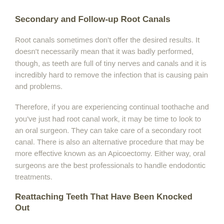Secondary and Follow-up Root Canals
Root canals sometimes don't offer the desired results. It doesn't necessarily mean that it was badly performed, though, as teeth are full of tiny nerves and canals and it is incredibly hard to remove the infection that is causing pain and problems.
Therefore, if you are experiencing continual toothache and you've just had root canal work, it may be time to look to an oral surgeon. They can take care of a secondary root canal. There is also an alternative procedure that may be more effective known as an Apicoectomy. Either way, oral surgeons are the best professionals to handle endodontic treatments.
Reattaching Teeth That Have Been Knocked Out